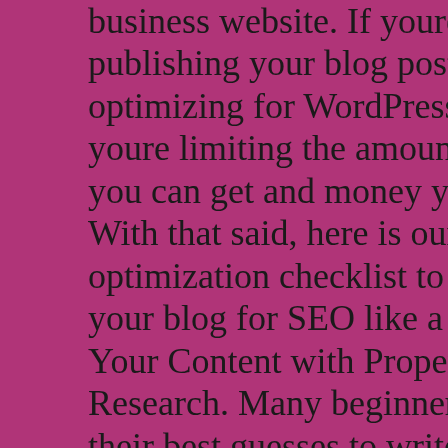business website. If youre simply publishing your blog posts and not optimizing for WordPress SEO, then youre limiting the amount of traffic you can get and money you can make. With that said, here is our blog post optimization checklist to optimize your blog for SEO like a pro. Plan Your Content with Proper Keyword Research. Many beginners just use their best guesses to write about topics they feel their users would be interested in. You dont need to rely on blind guesses, especially when you can do keyword research to find out exactly what your users are looking for. Keyword research is a technique used by content creators and SEO experts. It helps you discover topics your users are interested in based on the search engine data. Then, you can use these keywords to plan your content strategy.